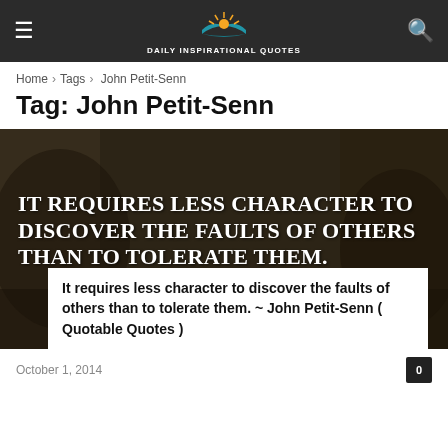Advertisement — DAILY INSPIRATIONAL QUOTES
Home › Tags › John Petit-Senn
Tag: John Petit-Senn
[Figure (illustration): Dark nature background with bold white serif text overlay: 'IT REQUIRES LESS CHARACTER TO DISCOVER THE FAULTS OF OTHERS THAN TO TOLERATE THEM.' with attribution '~ JOHN PETIT-SENN' and a white card at the bottom with the text 'It requires less character to discover the faults of others than to tolerate them. ~ John Petit-Senn ( Quotable Quotes )']
October 1, 2014